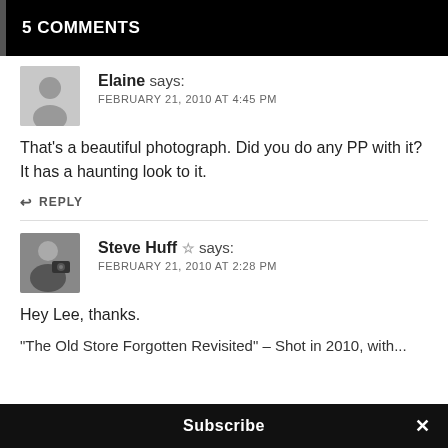5 COMMENTS
Elaine says:
FEBRUARY 21, 2010 AT 4:45 PM
That's a beautiful photograph. Did you do any PP with it? It has a haunting look to it.
REPLY
Steve Huff ☆ says:
FEBRUARY 21, 2010 AT 2:28 PM
Hey Lee, thanks.
"The Old Store Forgotten Revisited" – Shot in 2010, with...
Subscribe ×